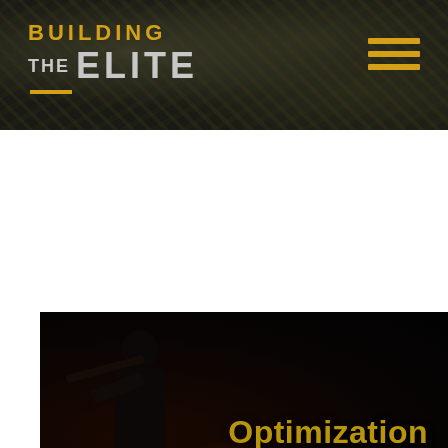BUILDING THE ELITE
[Figure (photo): Dark tactical/military themed image showing a silhouette of a person holding a weapon with red glow effects, overlaid with the text 'Optimization' in gold/yellow]
We use cookies to ensure that we give you the best experience on our website. If you continue to use this site we will assume that you are happy with it.
Ok    Privacy policy